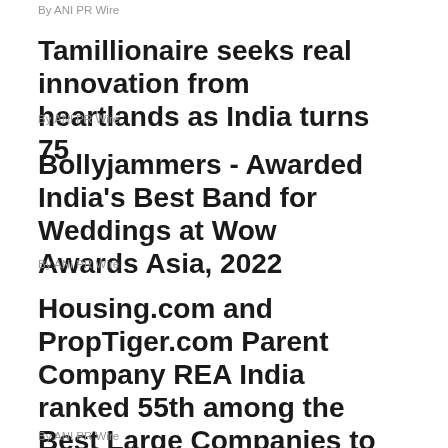By ANI PR Wire
Tamillionaire seeks real innovation from heartlands as India turns 75
By ANI PR Wire
Bollyjammers - Awarded India's Best Band for Weddings at Wow Awards Asia, 2022
By ANI PR Wire
Housing.com and PropTiger.com Parent Company REA India ranked 55th among the Best Large Companies to Work for in Asia by Great Place to Work
By ANI PR Wire